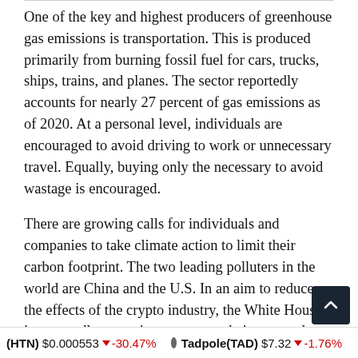One of the key and highest producers of greenhouse gas emissions is transportation. This is produced primarily from burning fossil fuel for cars, trucks, ships, trains, and planes. The sector reportedly accounts for nearly 27 percent of gas emissions as of 2020. At a personal level, individuals are encouraged to avoid driving to work or unnecessary travel. Equally, buying only the necessary to avoid wastage is encouraged.
There are growing calls for individuals and companies to take climate action to limit their carbon footprint. The two leading polluters in the world are China and the U.S. In an aim to reduce the effects of the crypto industry, the White House is reportedly preparing recommendations to reduce energy consumption and emissions from cryptocurrency mining to be released in a report in the coming months. In New York, the state recently passed a bill banning all crypto mining that is dependent on carbon as the power source.
(HTN) $0.000553 ↓ -30.47%   Tadpole(TAD) $7.32 ↓ -1.76%